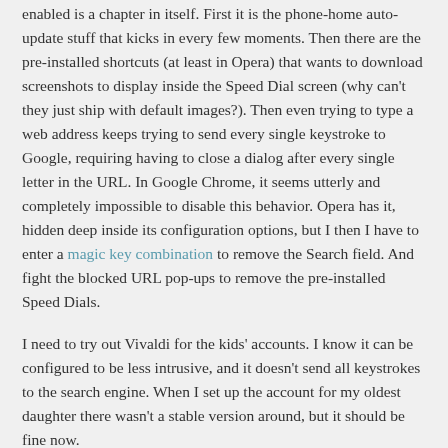enabled is a chapter in itself. First it is the phone-home auto-update stuff that kicks in every few moments. Then there are the pre-installed shortcuts (at least in Opera) that wants to download screenshots to display inside the Speed Dial screen (why can't they just ship with default images?). Then even trying to type a web address keeps trying to send every single keystroke to Google, requiring having to close a dialog after every single letter in the URL. In Google Chrome, it seems utterly and completely impossible to disable this behavior. Opera has it, hidden deep inside its configuration options, but I then I have to enter a magic key combination to remove the Search field. And fight the blocked URL pop-ups to remove the pre-installed Speed Dials.
I need to try out Vivaldi for the kids' accounts. I know it can be configured to be less intrusive, and it doesn't send all keystrokes to the search engine. When I set up the account for my oldest daughter there wasn't a stable version around, but it should be fine now.
Posted in software | Tagged browsers, chrome, frustration, opera, osx, parental control, vivaldi | Leave a comment |